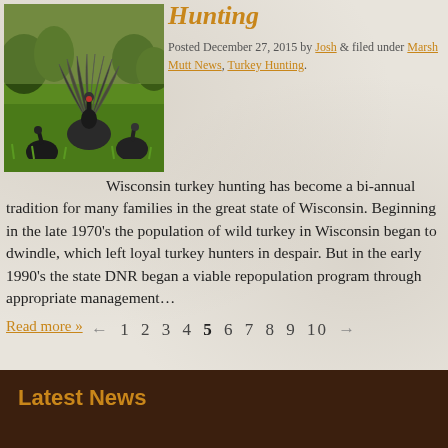[Figure (photo): Wild turkeys in a green grassy field, with one turkey displaying its tail feathers]
Hunting
Posted December 27, 2015 by Josh & filed under Marsh Mutt News, Turkey Hunting.
Wisconsin turkey hunting has become a bi-annual tradition for many families in the great state of Wisconsin. Beginning in the late 1970's the population of wild turkey in Wisconsin began to dwindle, which left loyal turkey hunters in despair. But in the early 1990's the state DNR began a viable repopulation program through appropriate management…
Read more »
← 1 2 3 4 5 6 7 8 9 10 →
Latest News